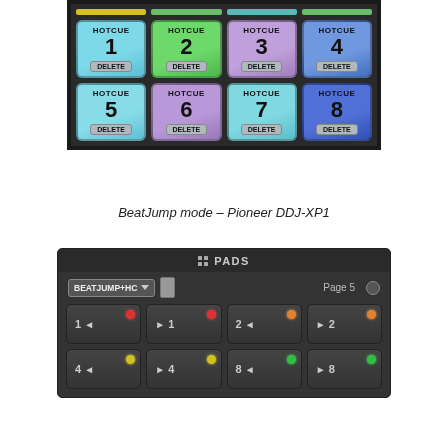[Figure (screenshot): Hot cue pad grid showing HOTCUE 1-8 buttons with DELETE sub-buttons, colored in cyan, green, purple, and blue]
BeatJump mode – Pioneer DDJ-XP1
[Figure (screenshot): PADS panel showing BEATJUMP+HC mode selector, Page 5 label, and 8 pad buttons with arrows and colored indicator dots]